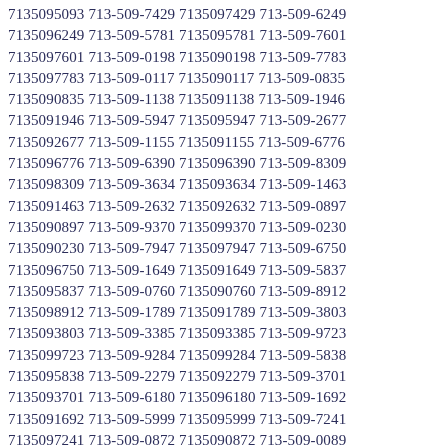7135095093 713-509-7429 7135097429 713-509-6249 7135096249 713-509-5781 7135095781 713-509-7601 7135097601 713-509-0198 7135090198 713-509-7783 7135097783 713-509-0117 7135090117 713-509-0835 7135090835 713-509-1138 7135091138 713-509-1946 7135091946 713-509-5947 7135095947 713-509-2677 7135092677 713-509-1155 7135091155 713-509-6776 7135096776 713-509-6390 7135096390 713-509-8309 7135098309 713-509-3634 7135093634 713-509-1463 7135091463 713-509-2632 7135092632 713-509-0897 7135090897 713-509-9370 7135099370 713-509-0230 7135090230 713-509-7947 7135097947 713-509-6750 7135096750 713-509-1649 7135091649 713-509-5837 7135095837 713-509-0760 7135090760 713-509-8912 7135098912 713-509-1789 7135091789 713-509-3803 7135093803 713-509-3385 7135093385 713-509-9723 7135099723 713-509-9284 7135099284 713-509-5838 7135095838 713-509-2279 7135092279 713-509-3701 7135093701 713-509-6180 7135096180 713-509-1692 7135091692 713-509-5999 7135095999 713-509-7241 7135097241 713-509-0872 7135090872 713-509-0089 7135090089 713-509-4001 7135094001 713-509-1277 7135091277 713-509-3587 7135093587 713-509-6779 7135096779 713-509-9385 7135099385 713-509-7328 7135097328 713-509-3302 7135093302 713-509-4567